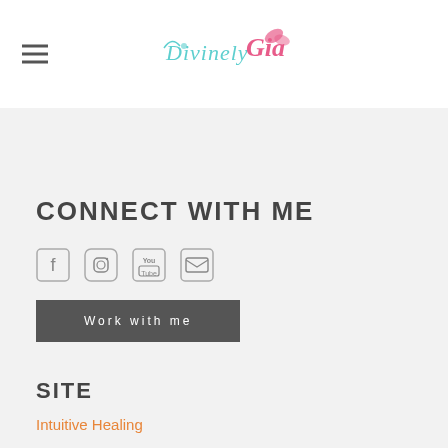Divinely Gia logo and navigation
CONNECT WITH ME
[Figure (illustration): Social media icons: Facebook, Instagram, YouTube, Email]
Work with me
SITE
Intuitive Healing
Free Meditation Videos